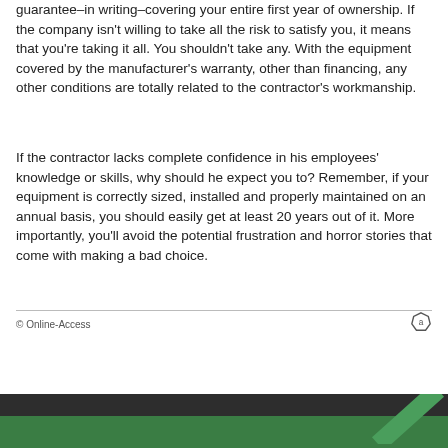guarantee–in writing–covering your entire first year of ownership. If the company isn't willing to take all the risk to satisfy you, it means that you're taking it all. You shouldn't take any. With the equipment covered by the manufacturer's warranty, other than financing, any other conditions are totally related to the contractor's workmanship.
If the contractor lacks complete confidence in his employees' knowledge or skills, why should he expect you to? Remember, if your equipment is correctly sized, installed and properly maintained on an annual basis, you should easily get at least 20 years out of it. More importantly, you'll avoid the potential frustration and horror stories that come with making a bad choice.
© Online-Access